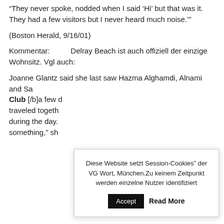“They never spoke, nodded when I said ‘Hi’ but that was it. They had a few visitors but I never heard much noise.’”
(Boston Herald, 9/16/01)
Kommentar:          Delray Beach ist auch offiziell der einzige Wohnsitz. Vgl auch:
Joanne Glantz said she last saw Hazma Alghamdi, Alnami and Sa… Club [/b]a few … traveled togeth… during the day. … something,” sh…
Diese Website setzt Session-Cookies” der VG Wort, München.Zu keinem Zeitpunkt werden einzelne Nutzer identifiziert